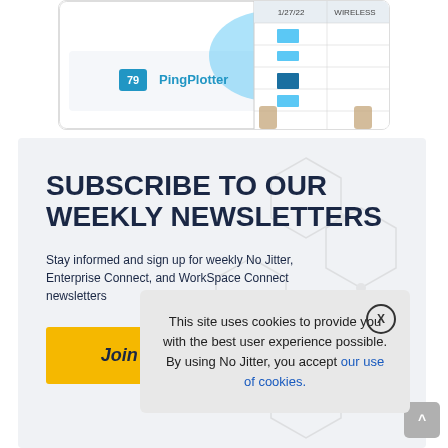[Figure (screenshot): PingPlotter application screenshot showing network data with date 1/27/22 and WIRELESS label]
SUBSCRIBE TO OUR WEEKLY NEWSLETTERS
Stay informed and sign up for weekly No Jitter, Enterprise Connect, and WorkSpace Connect newsletters
Join Us Today
TRENDI
Avaya: Reaso
This site uses cookies to provide you with the best user experience possible. By using No Jitter, you accept our use of cookies.